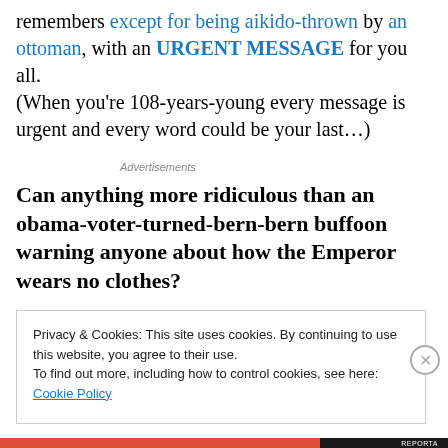remembers except for being aikido-thrown by an ottoman, with an URGENT MESSAGE for you all. (When you're 108-years-young every message is urgent and every word could be your last…)
Advertisements
Can anything more ridiculous than an obama-voter-turned-bern-bern buffoon warning anyone about how the Emperor wears no clothes?
Privacy & Cookies: This site uses cookies. By continuing to use this website, you agree to their use. To find out more, including how to control cookies, see here: Cookie Policy